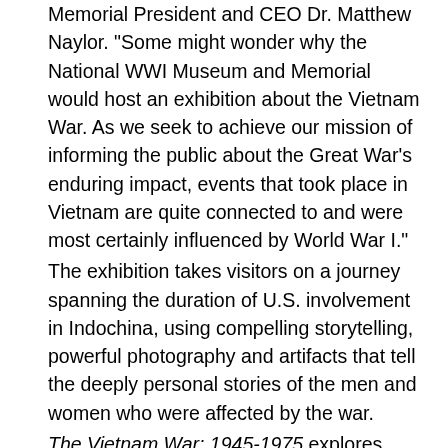Memorial President and CEO Dr. Matthew Naylor. "Some might wonder why the National WWI Museum and Memorial would host an exhibition about the Vietnam War. As we seek to achieve our mission of informing the public about the Great War's enduring impact, events that took place in Vietnam are quite connected to and were most certainly influenced by World War I."
The exhibition takes visitors on a journey spanning the duration of U.S. involvement in Indochina, using compelling storytelling, powerful photography and artifacts that tell the deeply personal stories of the men and women who were affected by the war.
The Vietnam War: 1945-1975 explores themes through fascinating objects, including a troopship berthing unit, vibrant anti-war posters, artwork by Vietnam vets, a Viet Cong bicycle, the Pentagon Papers and historical film footage. More than 300 artifacts, photographs, artworks, documents, films and interactive digital media help to convey